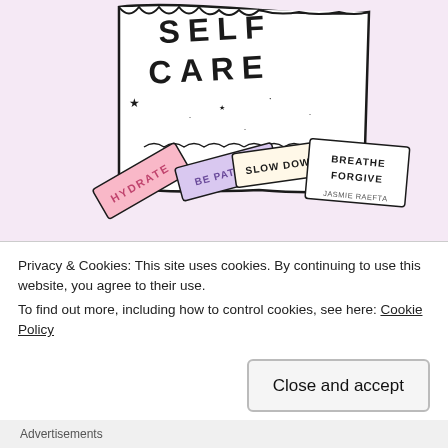[Figure (illustration): Hand-drawn illustration of a self-care checklist/receipt with text 'SELF CARE' at the top and smaller strips reading 'HYDRATE', 'BE PATIENT', 'SLOW DOWN', 'BREATHE', 'FORGIVE' with artist signature 'JASMIE RAEFTA'. Background is light pink/lavender.]
On this Sunday With Me, I want to remind you to take a second and just breathe today. You always deserve to do this, but why not make Sunday your day to do it? Note 5 people or things in your life that you're grateful for, take a
Privacy & Cookies: This site uses cookies. By continuing to use this website, you agree to their use.
To find out more, including how to control cookies, see here: Cookie Policy
Close and accept
Advertisements